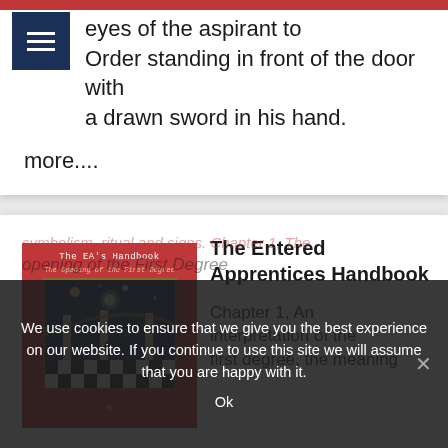eyes of the aspirant to Order standing in front of the door with a drawn sword in his hand.
more....
[Figure (photo): Book cover of The EA's Handbook - The Opening of the First Degree, red cover with a painting of a Masonic lodge interior]
The Entered Apprentices Handbook
Chapter 1, An interpretation of the first degree, the meaning
symbolism, ritual and signs. Chapter 1, The opening of the First Degree
We use cookies to ensure that we give you the best experience on our website. If you continue to use this site we will assume that you are happy with it.
Ok